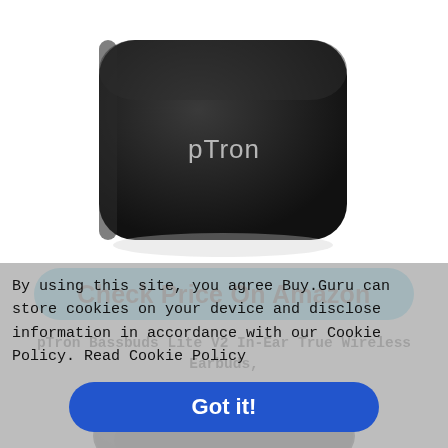[Figure (photo): pTron branded black wireless earbuds charging case, viewed from top-front angle, showing the pTron logo in white on the case surface]
Check Price On Amazon
pTron Bassbuds Lite V2 In-Ear True Wireless Earbuds, Built-in Mic, 10mm drivers
[Figure (photo): pTron black wireless earbud charging case viewed from a side/bottom angle]
By using this site, you agree Buy.Guru can store cookies on your device and disclose information in accordance with our Cookie Policy. Read Cookie Policy
Got it!